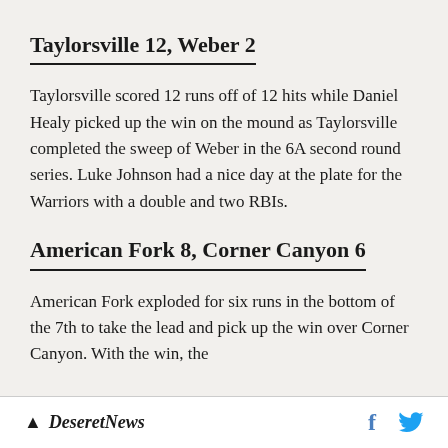Taylorsville 12, Weber 2
Taylorsville scored 12 runs off of 12 hits while Daniel Healy picked up the win on the mound as Taylorsville completed the sweep of Weber in the 6A second round series. Luke Johnson had a nice day at the plate for the Warriors with a double and two RBIs.
American Fork 8, Corner Canyon 6
American Fork exploded for six runs in the bottom of the 7th to take the lead and pick up the win over Corner Canyon. With the win, the
Deseret News